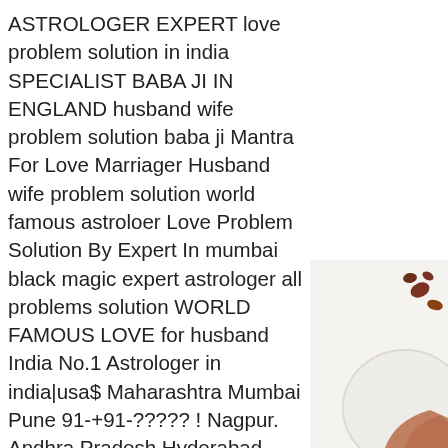ASTROLOGER EXPERT love problem solution in india SPECIALIST BABA JI IN ENGLAND husband wife problem solution baba ji Mantra For Love Marriager Husband wife problem solution world famous astroloer Love Problem Solution By Expert In mumbai black magic expert astrologer all problems solution WORLD FAMOUS LOVE for husband India No.1 Astrologer in india|usa$ Maharashtra Mumbai Pune 91-+91-????? ! Nagpur. Andhra Pradesh Hyderabad Kurnool.Karnataka Bangolore.kerala Love Problems Solution Baba Ji Tamil Nadu Chennai.Goa baba ji Ahmedebad Mumbai|varanasi|lucknow|kanpur|amritsar|aurangabad|jaipur kanpur|allahabad|banglore|mumbai |nashik|nagpur|pune|chennai| Mohinifriends AMERICA LONDON CALIFORNIA banglore|noida|gujrat|patna|bihar|ludhiana|hoshirpur|Mumbai No1 Astrologer In Chennai
[Figure (photo): A plate with spices/nuts and a person's hand visible in the lower right corner of the page]